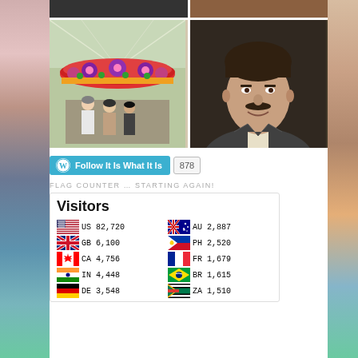[Figure (photo): Top row: two photos partially visible at top — left shows dark/indoor scene, right shows colorful textured item]
[Figure (photo): Left: colorful decorated carousel/chandelier with people below in greenhouse setting]
[Figure (photo): Right: portrait of middle-aged man with mustache, smiling, wearing suit]
[Figure (infographic): WordPress Follow button: Follow It Is What It Is, count 878]
FLAG COUNTER … STARTING AGAIN!
[Figure (table-as-image): Visitors flag counter widget showing country visitor counts: US 82,720 | AU 2,887 | GB 6,100 | PH 2,520 | CA 4,756 | FR 1,679 | IN 4,448 | BR 1,615 | DE 3,548 | ZA 1,510]